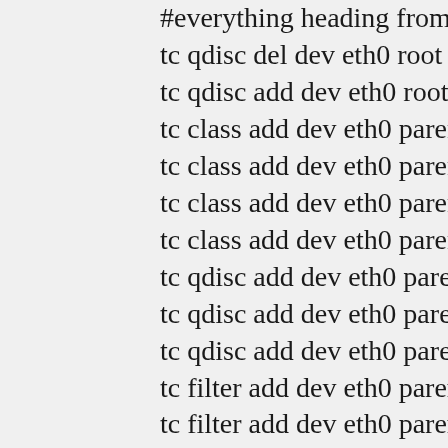#everything heading from wirele
tc qdisc del dev eth0 root
tc qdisc add dev eth0 root handle
tc class add dev eth0 parent 3: cla
tc class add dev eth0 parent 3:1 cl
tc class add dev eth0 parent 3:1 cl
tc class add dev eth0 parent 3:1 cl
tc qdisc add dev eth0 parent 3:10
tc qdisc add dev eth0 parent 3:20
tc qdisc add dev eth0 parent 3:30
tc filter add dev eth0 parent 3: pr
tc filter add dev eth0 parent 3: pr
# list what we have
tc -s -d qdisc show dev eth0